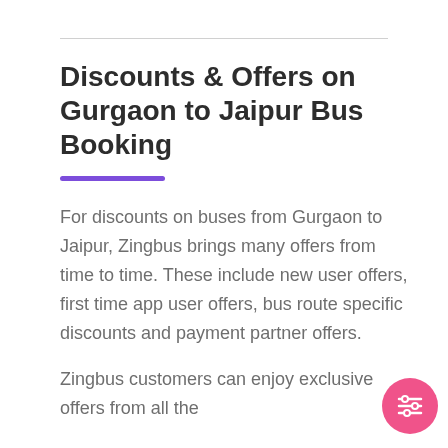Discounts & Offers on Gurgaon to Jaipur Bus Booking
For discounts on buses from Gurgaon to Jaipur, Zingbus brings many offers from time to time. These include new user offers, first time app user offers, bus route specific discounts and payment partner offers.
Zingbus customers can enjoy exclusive offers from all the